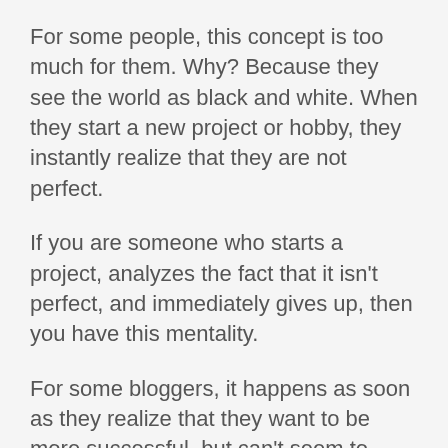For some people, this concept is too much for them. Why? Because they see the world as black and white. When they start a new project or hobby, they instantly realize that they are not perfect.
If you are someone who starts a project, analyzes the fact that it isn't perfect, and immediately gives up, then you have this mentality.
For some bloggers, it happens as soon as they realize that they want to be more successful, but can't seem to reach their goals in a single leap.
Anyone who has ever lost weight knows that you cannot do anything in one day. But over the course of months and years, you can achieve great changes for your body. The same goes for a terrific and successful blog.
It didn't become a sensation over night, and even if it did